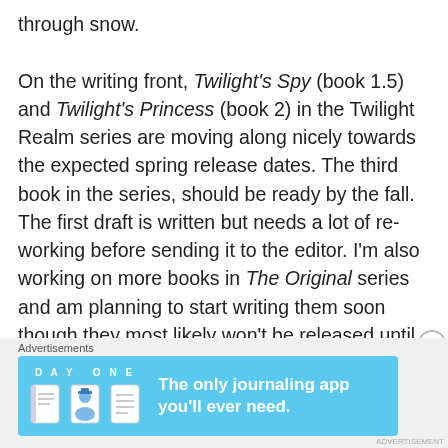through snow.

On the writing front, Twilight's Spy (book 1.5) and Twilight's Princess (book 2) in the Twilight Realm series are moving along nicely towards the expected spring release dates. The third book in the series, should be ready by the fall. The first draft is written but needs a lot of re-working before sending it to the editor. I'm also working on more books in The Original series and am planning to start writing them soon though they most likely won't be released until 2023. But one never knows, schedules are always being interrupted and changed. The exciting
Advertisements
[Figure (other): Day One journaling app advertisement banner with blue background, app icons, and text 'The only journaling app you'll ever need.']